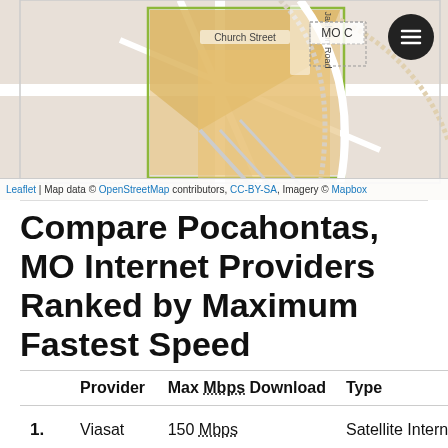[Figure (map): Street map showing Pocahontas, MO area with Church Street, Jackson Road labels, orange/tan shaded regions, and a 'MO C' label box. Map data from OpenStreetMap.]
Leaflet | Map data © OpenStreetMap contributors, CC-BY-SA, Imagery © Mapbox
Compare Pocahontas, MO Internet Providers Ranked by Maximum Fastest Speed
|  | Provider | Max Mbps Download | Type |
| --- | --- | --- | --- |
| 1. | Viasat | 150 Mbps | Satellite Intern |
| 2. | EarthLink | 75 Mbps | Fiber Internet / |